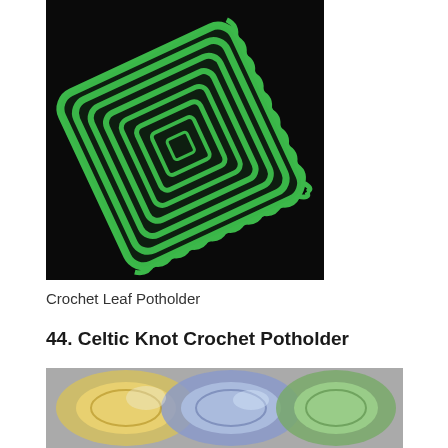[Figure (photo): Green crochet leaf potholder on a black background, fan-shaped with scalloped edges]
Crochet Leaf Potholder
44. Celtic Knot Crochet Potholder
The tutorial provides a free download link that you can click to get the pattern.
[Figure (photo): Colorful crochet potholders in yellow, blue, white and green colors]